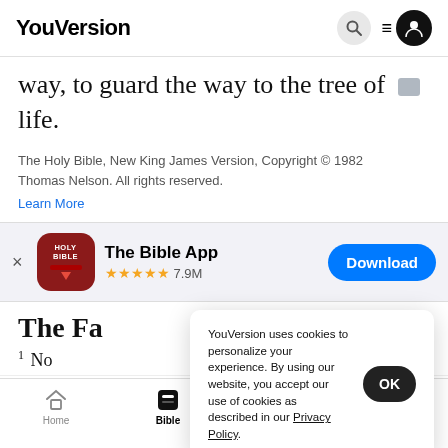YouVersion
way, to guard the way to the tree of life.
The Holy Bible, New King James Version, Copyright © 1982 Thomas Nelson. All rights reserved.
Learn More
[Figure (screenshot): The Bible App download banner with app icon, 5 stars, 7.9M ratings, and a Download button]
The Fa
1 No
YouVersion uses cookies to personalize your experience. By using our website, you accept our use of cookies as described in our Privacy Policy.
Home  Bible  Plans  Videos